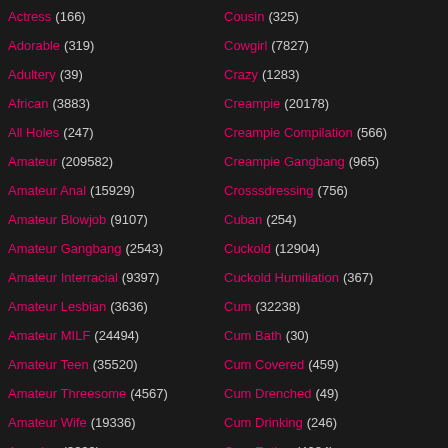Actress (166)
Adorable (319)
Adultery (39)
African (3883)
All Holes (247)
Amateur (209582)
Amateur Anal (15929)
Amateur Blowjob (9107)
Amateur Gangbang (2543)
Amateur Interracial (9397)
Amateur Lesbian (3636)
Amateur MILF (24494)
Amateur Teen (35520)
Amateur Threesome (4567)
Amateur Wife (19336)
Amazing (3329)
Cousin (325)
Cowgirl (7827)
Crazy (1283)
Creampie (20178)
Creampie Compilation (566)
Creampie Gangbang (965)
Crosssdressing (756)
Cuban (254)
Cuckold (12904)
Cuckold Humiliation (367)
Cum (32238)
Cum Bath (30)
Cum Covered (459)
Cum Drenched (49)
Cum Drinking (246)
Cum Eating (4084)